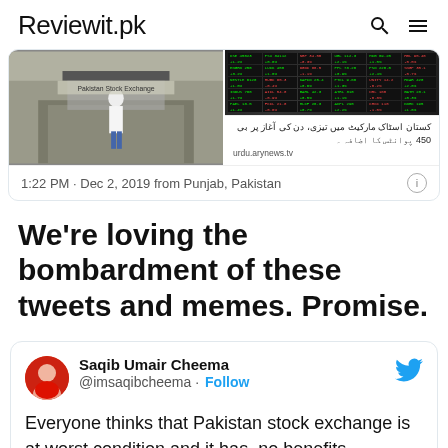Reviewit.pk
[Figure (screenshot): Tweet embed with two images: left shows a person walking towards Pakistan Stock Exchange building, right shows a stock board with green ticker data. Caption in Urdu text and urdu.arynews.tv URL shown beneath right image. Timestamp: 1:22 PM · Dec 2, 2019 from Punjab, Pakistan]
We're loving the bombardment of these tweets and memes. Promise.
[Figure (screenshot): Embedded tweet by Saqib Umair Cheema (@imsaqibcheema) with Follow button and Twitter bird logo. Tweet text: Everyone thinks that Pakistan stock exchange is at worst condition and it has no benefits But after This drama's Episode 16 Our...]